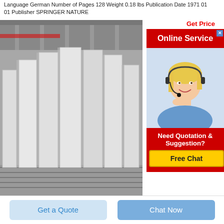Language German Number of Pages 128 Weight 0.18 lbs Publication Date 1971 01 01 Publisher SPRINGER NATURE
[Figure (photo): Industrial white rectangular blocks/slabs standing vertically in a factory warehouse setting on a conveyor or rack system]
[Figure (infographic): Online Service advertisement sidebar with red banner saying 'Online Service', photo of blonde female customer service agent with headset, and red 'Need Quotation & Suggestion?' box with yellow 'Free Chat' button. 'Get Price' text in red at top right.]
Voltammetry at graphite electrodes The oxidation of
Voltammetry at graphite electrodes The oxidation of hexacyanoferrate II ferrocyanide does not exhibit pure outer sphere electron transfer kinetics and is sensitive to pre exposure of the
Get a Quote
Chat Now